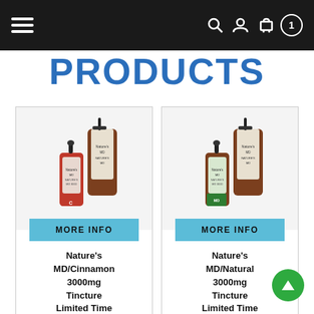Navigation bar with hamburger menu and icons
Products
[Figure (photo): Product photo showing Nature's MD/Cinnamon 3000mg Tincture Limited Time Package — two brown bottles with pump and dropper, red label]
MORE INFO
Nature's MD/Cinnamon 3000mg Tincture Limited Time Package
[Figure (photo): Product photo showing Nature's MD/Natural 3000mg Tincture Limited Time Package — two brown bottles with pump and dropper, green label]
MORE INFO
Nature's MD/Natural 3000mg Tincture Limited Time Package